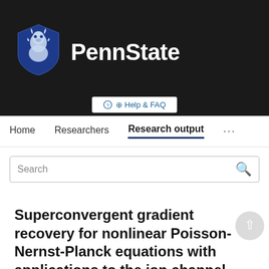[Figure (logo): Penn State university logo with lion shield and PennState wordmark on dark background]
⊕ Help & FAQ
Home   Researchers   Research output   ...
Search
Superconvergent gradient recovery for nonlinear Poisson-Nernst-Planck equations with applications to the ion channel problem